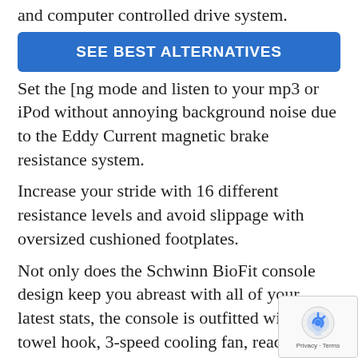and computer controlled drive system.
[Figure (other): Blue button with text SEE BEST ALTERNATIVES]
Set the [mode and listen to your mp3 or iPod without annoying background noise due to the Eddy Current magnetic brake resistance system.
Increase your stride with 16 different resistance levels and avoid slippage with oversized cushioned footplates.
Not only does the Schwinn BioFit console design keep you abreast with all of your latest stats, the console is outfitted with a towel hook, 3-speed cooling fan, reading rack and water bottle holder.
Warranty & Guarantee
The Schwinn 431 elliptical warranty and